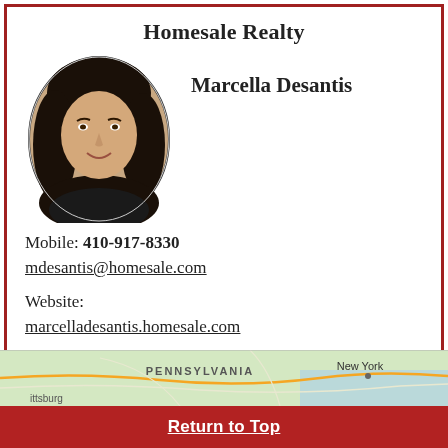Homesale Realty
Marcella Desantis
[Figure (photo): Oval portrait photo of Marcella Desantis, a woman with dark hair, smiling, wearing a dark top]
Mobile: 410-917-8330
mdesantis@homesale.com

Website:
marcelladesantis.homesale.com
Tell 'em you saw it on OldHouses.com!
[Figure (map): Partial map showing Pennsylvania, New York, Pittsburgh region]
Return to Top